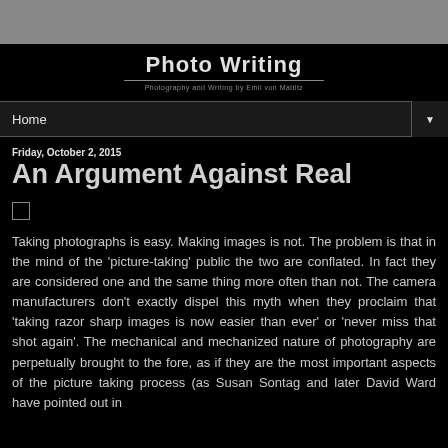Photo Writing
Photography and Writing by Emil von Maltitz
Home
Friday, October 2, 2015
An Argument Against Real
[Figure (other): Small empty checkbox square]
Taking photographs is easy. Making images is not. The problem is that in the mind of the 'picture-taking' public the two are conflated. In fact they are considered one and the same thing more often than not. The camera manufacturers don't exactly dispel this myth when they proclaim that 'taking razor sharp images is now easier than ever' or 'never miss that shot again'. The mechanical and mechanized nature of photography are perpetually brought to the fore, as if they are the most important aspects of the picture taking process (as Susan Sontag and later David Ward have pointed out in